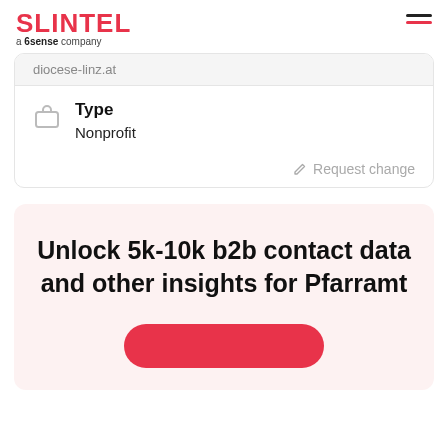SLINTEL a 6sense company
diocese-linz.at
Type
Nonprofit
Request change
Unlock 5k-10k b2b contact data and other insights for Pfarramt